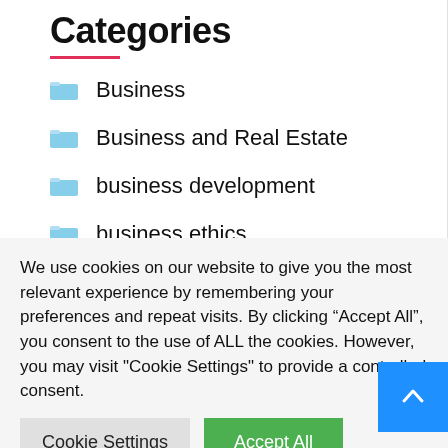Categories
Business
Business and Real Estate
business development
business ethics
business ideas
We use cookies on our website to give you the most relevant experience by remembering your preferences and repeat visits. By clicking “Accept All”, you consent to the use of ALL the cookies. However, you may visit "Cookie Settings" to provide a controlled consent.
Cookie Settings
Accept All